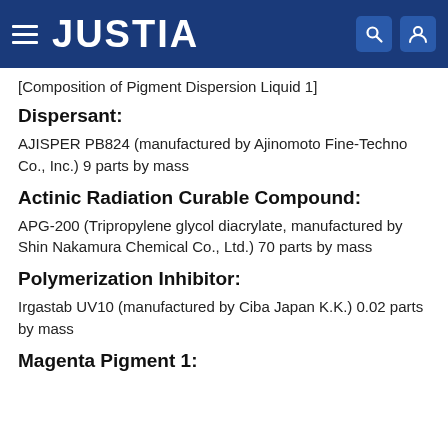JUSTIA
[Composition of Pigment Dispersion Liquid 1]
Dispersant:
AJISPER PB824 (manufactured by Ajinomoto Fine-Techno Co., Inc.) 9 parts by mass
Actinic Radiation Curable Compound:
APG-200 (Tripropylene glycol diacrylate, manufactured by Shin Nakamura Chemical Co., Ltd.) 70 parts by mass
Polymerization Inhibitor:
Irgastab UV10 (manufactured by Ciba Japan K.K.) 0.02 parts by mass
Magenta Pigment 1: